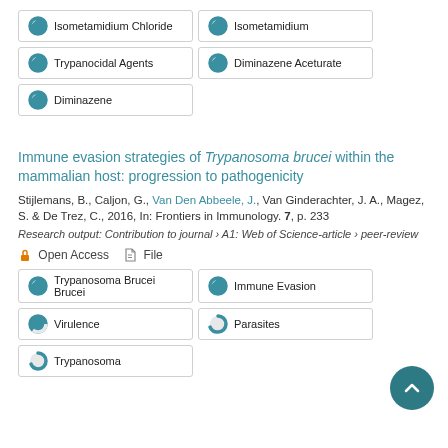[Figure (infographic): Keyword badges with donut/circle icons for Isometamidium Chloride, Isometamidium, Trypanocidal Agents, Diminazene Aceturate, Diminazene]
Immune evasion strategies of Trypanosoma brucei within the mammalian host: progression to pathogenicity
Stijlemans, B., Caljon, G., Van Den Abbeele, J., Van Ginderachter, J. A., Magez, S. & De Trez, C., 2016, In: Frontiers in Immunology. 7, p. 233
Research output: Contribution to journal › A1: Web of Science-article › peer-review
Open Access   File
[Figure (infographic): Keyword badges with donut/circle icons for Trypanosoma Brucei Brucei, Immune Evasion, Virulence, Parasites, Trypanosoma]